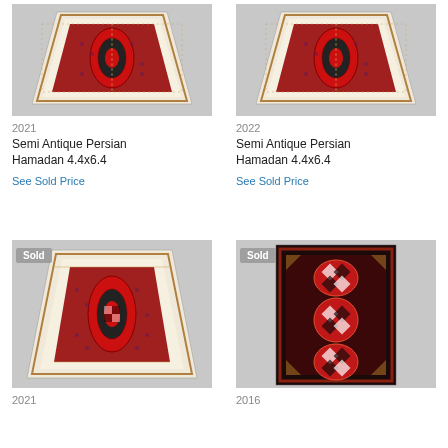[Figure (photo): Semi Antique Persian Hamadan rug 2021, top left]
[Figure (photo): Semi Antique Persian Hamadan rug 2022, top right]
2021
Semi Antique Persian Hamadan 4.4x6.4
See Sold Price
2022
Semi Antique Persian Hamadan 4.4x6.4
See Sold Price
[Figure (photo): Semi Antique Persian Hamadan rug 2021 bottom left, marked Sold]
[Figure (photo): Dark rug 2016, bottom right, marked Sold]
2021
2016